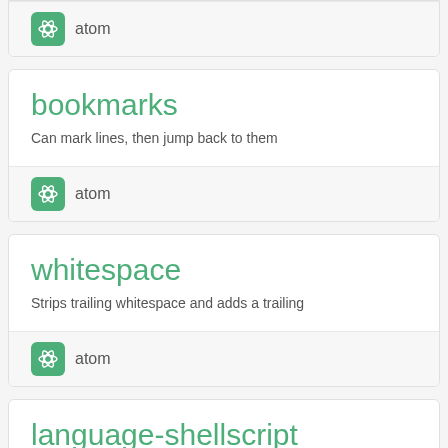atom (partial card top)
bookmarks — Can mark lines, then jump back to them — atom
whitespace — Strips trailing whitespace and adds a trailing — atom
language-shellscript (partial, title only visible)